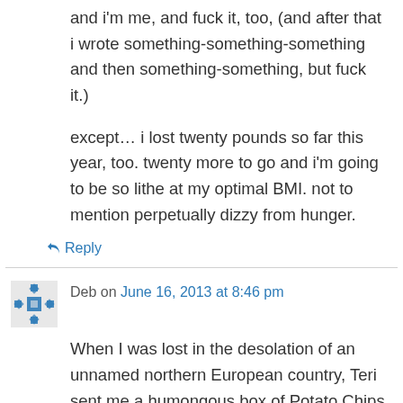and i'm me, and fuck it, too, (and after that i wrote something-something-something and then something-something, but fuck it.)
except… i lost twenty pounds so far this year, too. twenty more to go and i'm going to be so lithe at my optimal BMI. not to mention perpetually dizzy from hunger.
↳ Reply
Deb on June 16, 2013 at 8:46 pm
When I was lost in the desolation of an unnamed northern European country, Teri sent me a humongous box of Potato Chips and dip mixes.